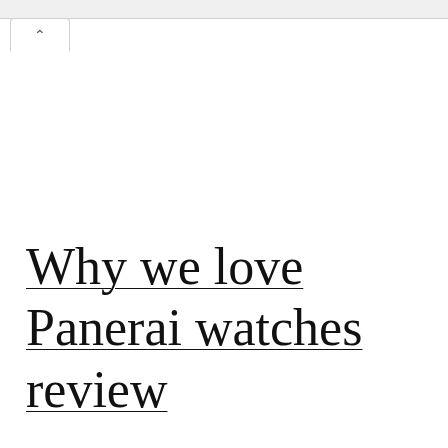Why we love Panerai watches review